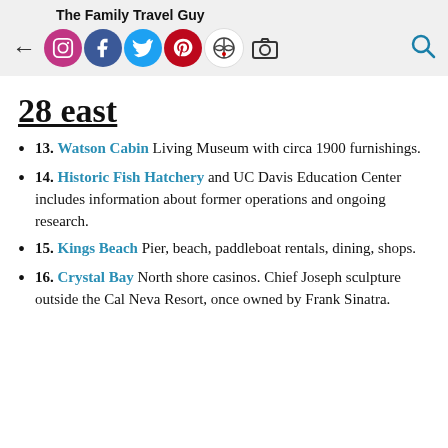The Family Travel Guy
13. Watson Cabin Living Museum with circa 1900 furnishings.
14. Historic Fish Hatchery and UC Davis Education Center includes information about former operations and ongoing research.
15. Kings Beach Pier, beach, paddleboat rentals, dining, shops.
16. Crystal Bay North shore casinos. Chief Joseph sculpture outside the Cal Neva Resort, once owned by Frank Sinatra.